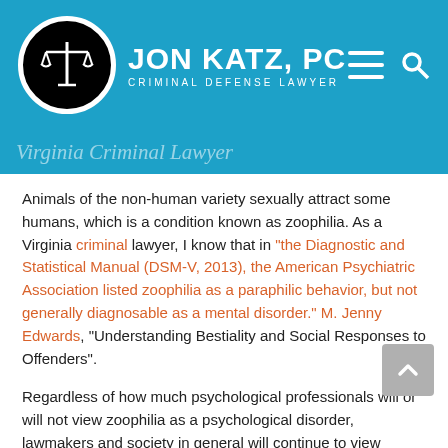[Figure (logo): Jon Katz, PC Criminal Defense Lawyer logo with scales of justice icon on blue header background]
Virginia Criminal Lawyer
Animals of the non-human variety sexually attract some humans, which is a condition known as zoophilia. As a Virginia criminal lawyer, I know that in “the Diagnostic and Statistical Manual (DSM-V, 2013), the American Psychiatric Association listed zoophilia as a paraphilic behavior, but not generally diagnosable as a mental disorder.” M. Jenny Edwards, “Understanding Bestiality and Social Responses to Offenders”.
Regardless of how much psychological professionals will or will not view zoophilia as a psychological disorder, lawmakers and society in general will continue to view human sex with non-human animals as a form of animal cruelty and immoral activity that will be criminalized.
Virginia criminalizes bestiality, as follows: “If any person carnally